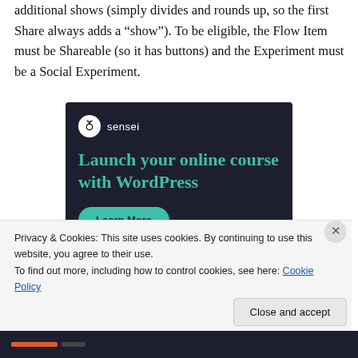additional shows (simply divides and rounds up, so the first Share always adds a “show”). To be eligible, the Flow Item must be Shareable (so it has buttons) and the Experiment must be a Social Experiment.
[Figure (screenshot): Sensei advertisement: dark background with Sensei logo and text 'Launch your online course with WordPress' in teal, with a teal 'Learn More' button.]
Privacy & Cookies: This site uses cookies. By continuing to use this website, you agree to their use.
To find out more, including how to control cookies, see here: Cookie Policy
Close and accept